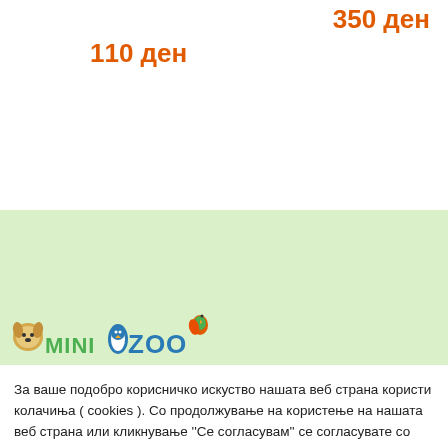350 ден
110 ден
[Figure (logo): Mini Zoo logo with cartoon animals (dog, penguin, toucan, parrot) on a light green background banner]
За ваше подобро корисничко искуство нашата веб страна користи колачиња ( cookies ). Со продолжување на користење на нашата веб страна или кликнување ''Се согласувам'' се согласувате со користењето на колачињата.
Подесувања
Прифати